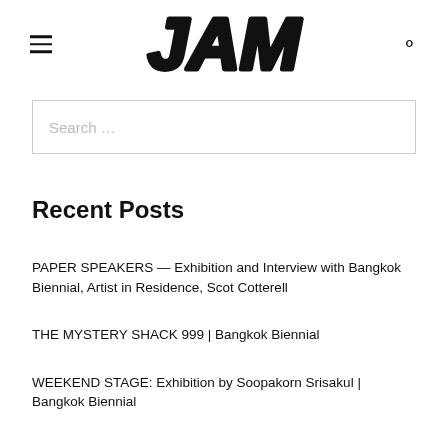JAM
Search …
Recent Posts
PAPER SPEAKERS — Exhibition and Interview with Bangkok Biennial, Artist in Residence, Scot Cotterell
THE MYSTERY SHACK 999 | Bangkok Biennial
WEEKEND STAGE: Exhibition by Soopakorn Srisakul | Bangkok Biennial